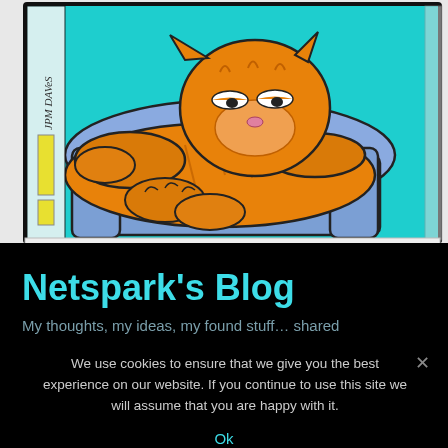[Figure (illustration): Garfield the cat lying lazily on a blue armchair, with signature 'JPM DAVeS' visible on the left side of the panel. Comic strip artwork with teal/cyan background.]
Netspark's Blog
My thoughts, my ideas, my found stuff… shared
We use cookies to ensure that we give you the best experience on our website. If you continue to use this site we will assume that you are happy with it.
Ok